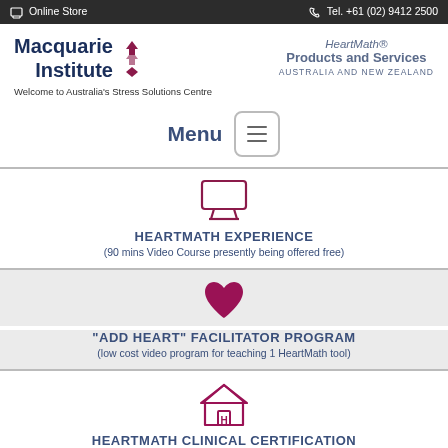Online Store | Tel. +61 (02) 9412 2500
[Figure (logo): Macquarie Institute logo with arrows and diamond icon]
[Figure (logo): HeartMath® Products and Services Australia and New Zealand]
Welcome to Australia's Stress Solutions Centre
Menu
[Figure (illustration): Monitor/screen icon for HeartMath Experience section]
HEARTMATH EXPERIENCE
(90 mins Video Course presently being offered free)
[Figure (illustration): Heart icon for Add Heart Facilitator Program section]
"ADD HEART" FACILITATOR PROGRAM
(low cost video program for teaching 1 HeartMath tool)
[Figure (illustration): House/building icon for HeartMath Clinical Certification section]
HEARTMATH CLINICAL CERTIFICATION
(for Clinical and Medical Practitioners)